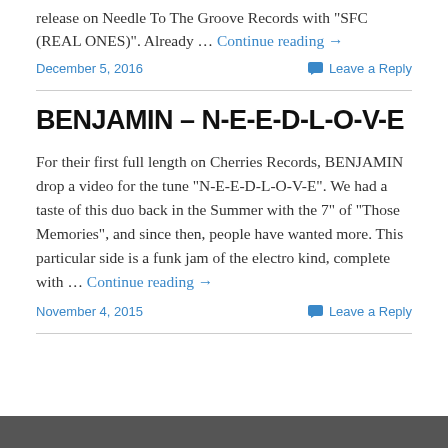release on Needle To The Groove Records with "SFC (REAL ONES)". Already … Continue reading →
December 5, 2016    Leave a Reply
BENJAMIN – N-E-E-D-L-O-V-E
For their first full length on Cherries Records, BENJAMIN drop a video for the tune "N-E-E-D-L-O-V-E". We had a taste of this duo back in the Summer with the 7" of "Those Memories", and since then, people have wanted more. This particular side is a funk jam of the electro kind, complete with … Continue reading →
November 4, 2015    Leave a Reply
[Figure (photo): Dark strip at the bottom of the page, partial image visible]